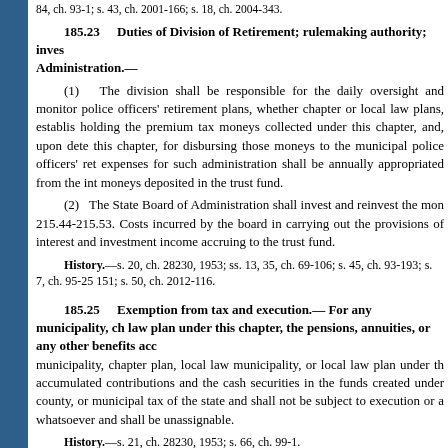84, ch. 93-1; s. 43, ch. 2001-166; s. 18, ch. 2004-343.
185.23 Duties of Division of Retirement; rulemaking authority; investment by State Board of Administration.—
(1) The division shall be responsible for the daily oversight and monitoring of municipal police officers' retirement plans, whether chapter or local law plans, established pursuant to this chapter, for disbursing those moneys to the municipal police officers' retirement plans. The expenses for such administration shall be annually appropriated from the interest earned on the moneys deposited in the trust fund.
(2) The State Board of Administration shall invest and reinvest the moneys pursuant to ss. 215.44-215.53. Costs incurred by the board in carrying out the provisions of this chapter shall be paid from interest and investment income accruing to the trust fund.
History.—s. 20, ch. 28230, 1953; ss. 13, 35, ch. 69-106; s. 45, ch. 93-193; s. 7, ch. 95-250; s. 4, ch. 96-151; s. 50, ch. 2012-116.
185.25 Exemption from tax and execution.—
For any municipality, chapter plan, or local law plan under this chapter, the pensions, annuities, or any other benefits accrued or accruing to any municipality, chapter plan, local law municipality, or local law plan under the provisions of this chapter and the accumulated contributions and the cash securities in the funds created under this chapter shall be exempt from any state, county, or municipal tax of the state and shall not be subject to execution or attachment or any form whatsoever and shall be unassignable.
History.—s. 21, ch. 28230, 1953; s. 66, ch. 99-1.